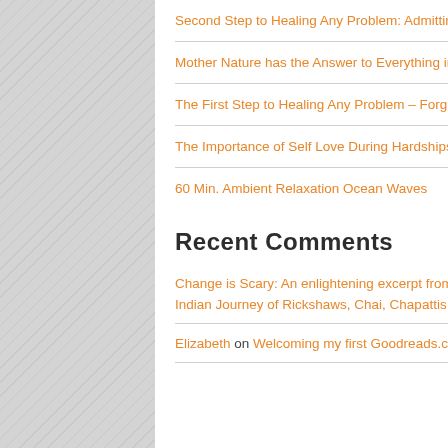Second Step to Healing Any Problem: Admitting Your Mistakes
Mother Nature has the Answer to Everything in Life
The First Step to Healing Any Problem – Forgiveness
The Importance of Self Love During Hardships
60 Min. Ambient Relaxation Ocean Waves
Recent Comments
Change is Scary: An enlightening excerpt from Elizabeth Rae Kovar's newest travel memoir, Finding Om: An Indian Journey of Rickshaws, Chai, Chapattis and Gurus. | Elizabeth Kovar on Books
Elizabeth on Welcoming my first Goodreads.com Finding Om Book Review